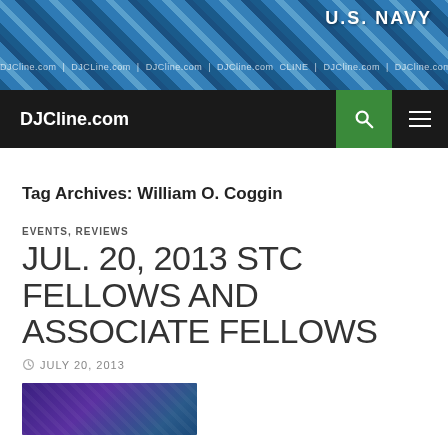[Figure (photo): U.S. Navy camouflage pattern banner with 'U.S. NAVY' text and repeating DJCline.com ticker text overlay]
DJCline.com
Tag Archives: William O. Coggin
EVENTS, REVIEWS
JUL. 20, 2013 STC FELLOWS AND ASSOCIATE FELLOWS
JULY 20, 2013
[Figure (photo): Partial thumbnail image showing purple and blue tones, appears to be a book or award cover]